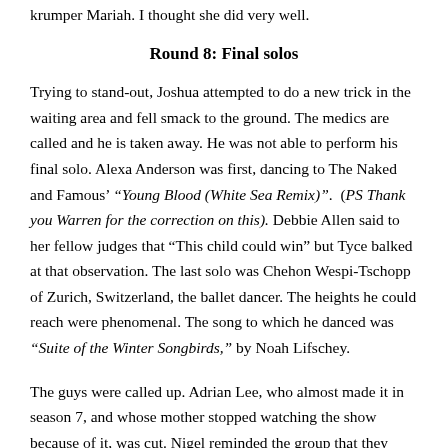krumper Mariah. I thought she did very well.
Round 8: Final solos
Trying to stand-out, Joshua attempted to do a new trick in the waiting area and fell smack to the ground. The medics are called and he is taken away. He was not able to perform his final solo. Alexa Anderson was first, dancing to The Naked and Famous' “Young Blood (White Sea Remix)”.  (PS Thank you Warren for the correction on this). Debbie Allen said to her fellow judges that “This child could win” but Tyce balked at that observation. The last solo was Chehon Wespi-Tschopp of Zurich, Switzerland, the ballet dancer. The heights he could reach were phenomenal. The song to which he danced was “Suite of the Winter Songbirds,” by Noah Lifschey.
The guys were called up. Adrian Lee, who almost made it in season 7, and whose mother stopped watching the show because of it, was cut. Nigel reminded the group that they were not going for the “best